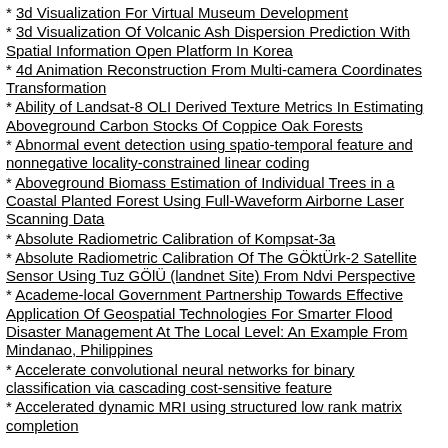3d Visualization For Virtual Museum Development
3d Visualization Of Volcanic Ash Dispersion Prediction With Spatial Information Open Platform In Korea
4d Animation Reconstruction From Multi-camera Coordinates Transformation
Ability of Landsat-8 OLI Derived Texture Metrics In Estimating Aboveground Carbon Stocks Of Coppice Oak Forests
Abnormal event detection using spatio-temporal feature and nonnegative locality-constrained linear coding
Aboveground Biomass Estimation of Individual Trees in a Coastal Planted Forest Using Full-Waveform Airborne Laser Scanning Data
Absolute Radiometric Calibration of Kompsat-3a
Absolute Radiometric Calibration Of The GÖktÜrk-2 Satellite Sensor Using Tuz GÖlÜ (landnet Site) From Ndvi Perspective
Academe-local Government Partnership Towards Effective Application Of Geospatial Technologies For Smarter Flood Disaster Management At The Local Level: An Example From Mindanao, Philippines
Accelerate convolutional neural networks for binary classification via cascading cost-sensitive feature
Accelerated dynamic MRI using structured low rank matrix completion